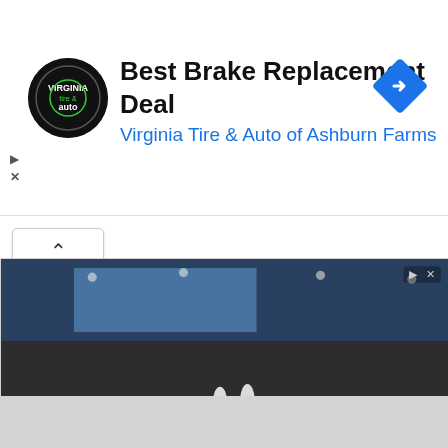[Figure (screenshot): Top advertisement banner: Virginia Tire & Auto logo (black circle with tire and auto text), headline 'Best Brake Replacement Deal', subheadline 'Virginia Tire & Auto of Ashburn Farms' in blue, blue diamond navigation icon on right. Play and close (X) controls on left.]
[Figure (screenshot): Collapse/chevron-up button (^) in a white rounded box.]
[Figure (screenshot): Second advertisement: photo of a large auditorium filled with audience, below it a Google 'g' icon with text 'We're Excited To See Y...', then 'Grace Community Church (' with map thumbnail and 'Arlington 09:30 – 10:30', navigation button on right. Ad controls (play, X) at top right.]